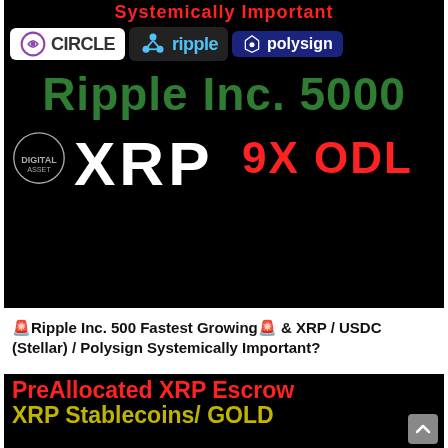[Figure (infographic): Black background promotional image with Circle, Ripple, Polysign logos, 'Ripple Inc. 5000' in green text, XRP logo, and '9X ODL' in red text]
🚨Ripple Inc. 500 Fastest Growing🚨 & XRP / USDC (Stellar) / Polysign Systemically Important?
[Figure (infographic): Black background banner with 'PreAllocated XRP Escrow' in red text and 'XRP Stablecoins/ GOLD' in olive/yellow text]